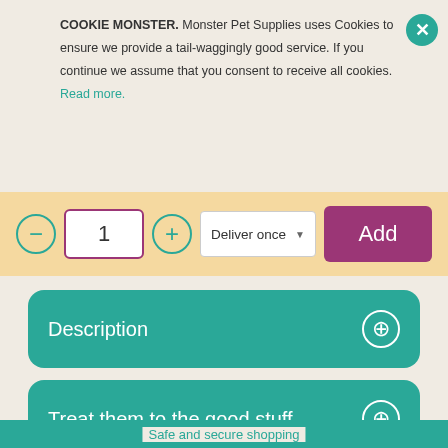COOKIE MONSTER. Monster Pet Supplies uses Cookies to ensure we provide a tail-waggingly good service. If you continue we assume that you consent to receive all cookies. Read more.
[Figure (screenshot): Add to cart widget with quantity selector (minus button, input showing 1, plus button), a Deliver once dropdown, and a purple Add button on a light yellow background]
Description
Treat them to the good stuff
Deliveries
Safe and secure shopping